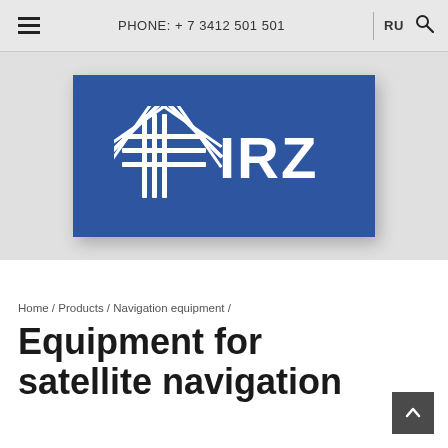PHONE: + 7 3412 501 501 | RU
[Figure (logo): IRZ company logo — white star/grid icon and 'IRZ' text on dark blue rectangle background]
Home / Products / Navigation equipment /
Equipment for satellite navigation